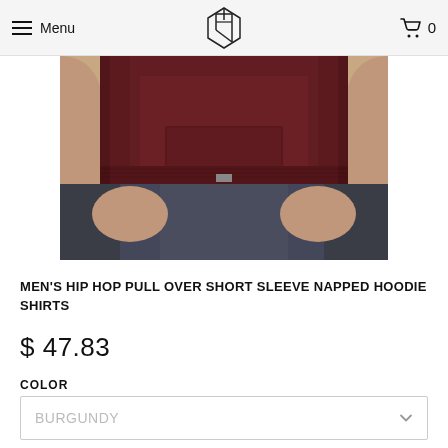Menu | [Logo] | 0
[Figure (photo): Close-up photo of a man wearing a dark burgundy/maroon short sleeve hoodie sweatshirt with kangaroo pocket, paired with dark denim jeans. Only the torso and hands are visible.]
MEN'S HIP HOP PULL OVER SHORT SLEEVE NAPPED HOODIE SHIRTS
$ 47.83
COLOR
BURGUNDY